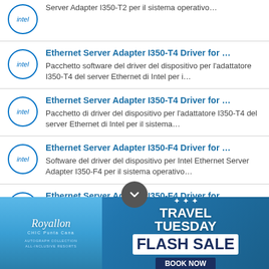Server Adapter I350-T2 per il sistema operativo…
Ethernet Server Adapter I350-T4 Driver for … Pacchetto software del driver del dispositivo per l'adattatore I350-T4 del server Ethernet di Intel per i…
Ethernet Server Adapter I350-T4 Driver for … Pacchetto di driver del dispositivo per l'adattatore I350-T4 del server Ethernet di Intel per il sistema…
Ethernet Server Adapter I350-F4 Driver for … Software del driver del dispositivo per Intel Ethernet Server Adapter I350-F4 per il sistema operativo…
Ethernet Server Adapter I350-F4 Driver for … Installatore del driver del dispositivo per l'adattatore I350-F4 del server Ethernet di Intel per il sistema…
[Figure (infographic): Royallon Chic Punta Cana advertisement banner: Travel Tuesday Flash Sale, 10% instant mobile savings, Book Now]